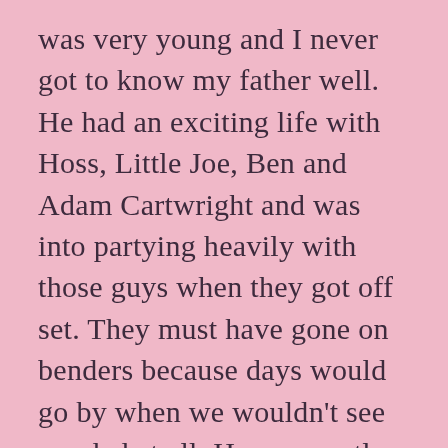was very young and I never got to know my father well. He had an exciting life with Hoss, Little Joe, Ben and Adam Cartwright and was into partying heavily with those guys when they got off set. They must have gone on benders because days would go by when we wouldn't see my dad at all. He apparently had an IQ off the charts but wasn't smart enough (or in